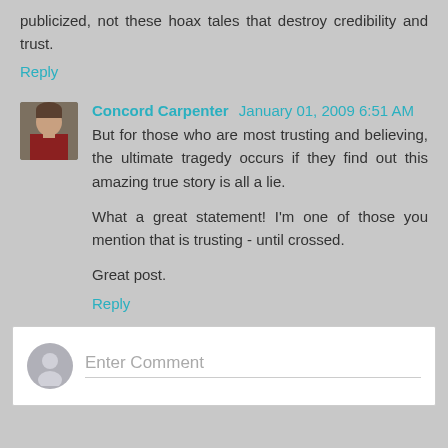publicized, not these hoax tales that destroy credibility and trust.
Reply
Concord Carpenter  January 01, 2009 6:51 AM
But for those who are most trusting and believing, the ultimate tragedy occurs if they find out this amazing true story is all a lie.

What a great statement! I'm one of those you mention that is trusting - until crossed.

Great post.
Reply
Enter Comment